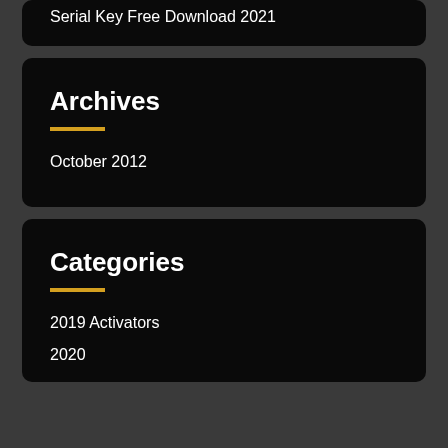Serial Key Free Download 2021
Archives
October 2012
Categories
2019 Activators
2020